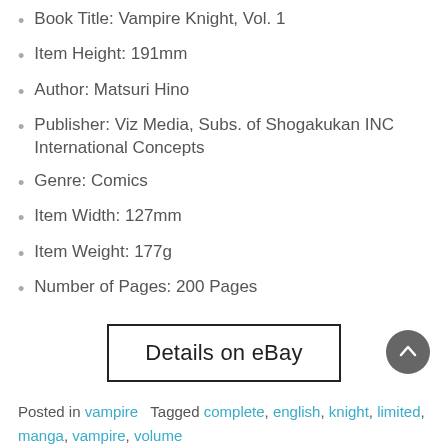Book Title: Vampire Knight, Vol. 1
Item Height: 191mm
Author: Matsuri Hino
Publisher: Viz Media, Subs. of Shogakukan INC International Concepts
Genre: Comics
Item Width: 127mm
Item Weight: 177g
Number of Pages: 200 Pages
[Figure (other): Details on eBay button]
Posted in vampire   Tagged complete, english, knight, limited, manga, vampire, volume
Yoshitaka Amano the